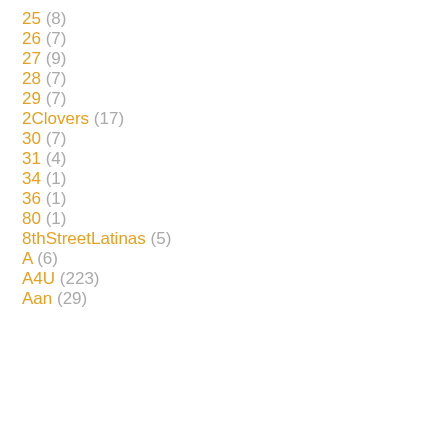25 (8)
26 (7)
27 (9)
28 (7)
29 (7)
2Clovers (17)
30 (7)
31 (4)
34 (1)
36 (1)
80 (1)
8thStreetLatinas (5)
A (6)
A4U (223)
Aan (29)